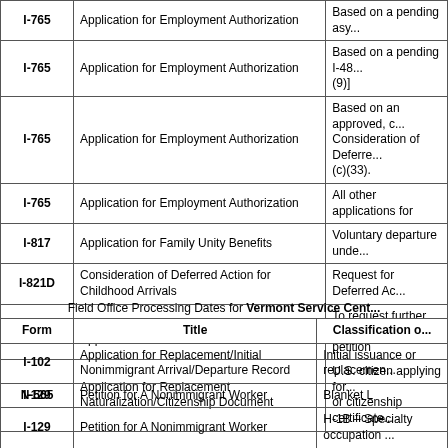| Form | Title | Classification or Basis for Filing |
| --- | --- | --- |
| I-765 | Application for Employment Authorization | Based on a pending asy... |
| I-765 | Application for Employment Authorization | Based on a pending I-48... (9)] |
| I-765 | Application for Employment Authorization | Based on an approved, c... Consideration of Deferred... (c)(33). |
| I-765 | Application for Employment Authorization | All other applications for |
| I-817 | Application for Family Unity Benefits | Voluntary departure unde... |
| I-821D | Consideration of Deferred Action for Childhood Arrivals | Request for Deferred Ac... |
| I-824 | Application for Action on an Approved Application or Petition | To request further action... petition |
| N-565 | Application for Replacement Naturalization/Citizenship Document | U.S. citizen applying for... or citizenship certificate... |
Field Office Processing Dates for Vermont Service Cent...
| Form | Title | Classification o... |
| --- | --- | --- |
| I-102 | Application for Replacement/Initial Nonimmigrant Arrival/Departure Record | Initial issuance or replacemen... |
| I-129 | Petition for A Nonimmigrant Worker | Blanket L |
| I-129 | Petition for A Nonimmigrant Worker | H-1B – Specialty occupation ... |